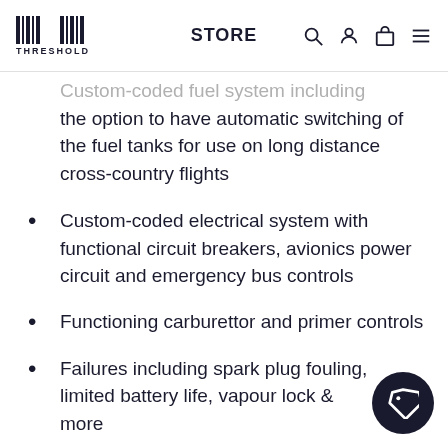THRESHOLD STORE
Custom-coded fuel system including the option to have automatic switching of the fuel tanks for use on long distance cross-country flights
Custom-coded electrical system with functional circuit breakers, avionics power circuit and emergency bus controls
Functioning carburettor and primer controls
Failures including spark plug fouling, limited battery life, vapour lock and more